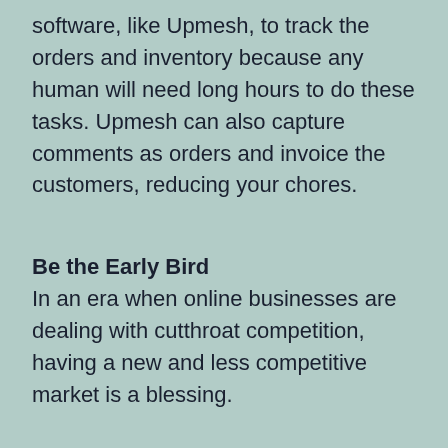software, like Upmesh, to track the orders and inventory because any human will need long hours to do these tasks. Upmesh can also capture comments as orders and invoice the customers, reducing your chores.
Be the Early Bird
In an era when online businesses are dealing with cutthroat competition, having a new and less competitive market is a blessing.